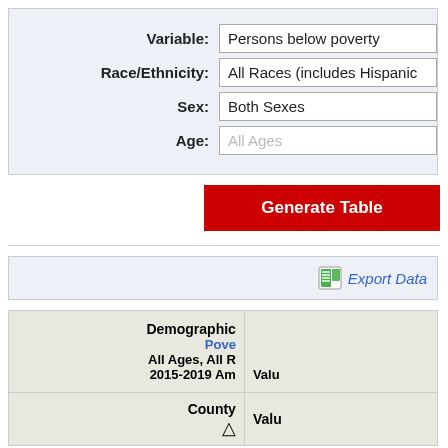| Variable | Race/Ethnicity | Sex | Age |
| --- | --- | --- | --- |
| Persons below poverty |
| All Races (includes Hispanic…) |
| Both Sexes |
| All Ages |
Generate Table
Export Data
| County ▲ | Value |
| --- | --- |